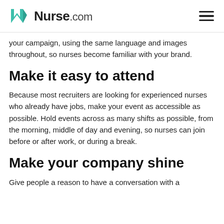Nurse.com
your campaign, using the same language and images throughout, so nurses become familiar with your brand.
Make it easy to attend
Because most recruiters are looking for experienced nurses who already have jobs, make your event as accessible as possible. Hold events across as many shifts as possible, from the morning, middle of day and evening, so nurses can join before or after work, or during a break.
Make your company shine
Give people a reason to have a conversation with a